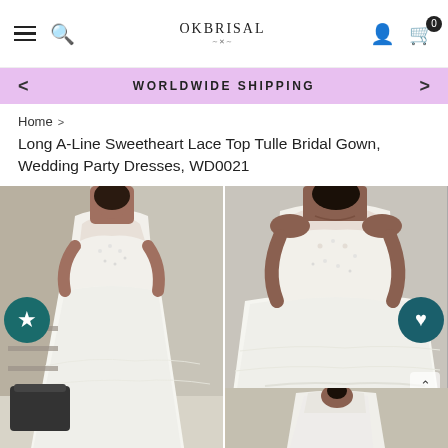OkBrisal navigation bar with hamburger menu, search, logo, user account, and cart (0)
WORLDWIDE SHIPPING
Home >
Long A-Line Sweetheart Lace Top Tulle Bridal Gown, Wedding Party Dresses, WD0021
[Figure (photo): Two side-by-side photos of a model wearing a long white A-line sweetheart lace top tulle bridal gown. Left photo shows full front view in a fitting room; right photo shows a closer upper-body view. Star button on left, heart button on right, scroll-up arrow at bottom right. Thumbnail strip visible at bottom right.]